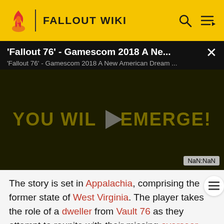FALLOUT WIKI
[Figure (screenshot): Video thumbnail for 'Fallout 76' - Gamescom 2018 A New American Dream, showing text 'YOU WILL EMERGE!' with a play button overlay and NaN:NaN time display]
The story is set in Appalachia, comprising the former state of West Virginia. The player takes the role of a dweller from Vault 76 as they attempt to reunite with their missing overseer. On their journey, the dweller discovers how Appalachia has been devastated by and suffered